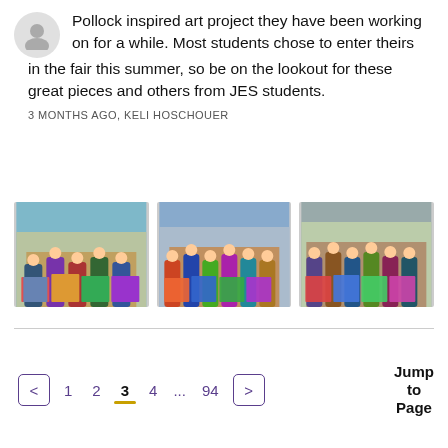Pollock inspired art project they have been working on for a while. Most students chose to enter theirs in the fair this summer, so be on the lookout for these great pieces and others from JES students.
3 MONTHS AGO, KELI HOSCHOUER
[Figure (photo): Three photos of elementary school students holding colorful Pollock-inspired paintings in a classroom]
Jump to Page
< 1 2 3 4 ... 94 >